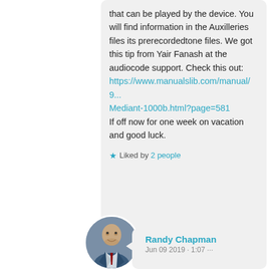that can be played by the device. You will find information in the Auxilleries files its prerecordedtone files. We got this tip from Yair Fanash at the audiocode support. Check this out: https://www.manualslib.com/manual/9... Mediant-1000b.html?page=581 If off now for one week on vacation and good luck.
Liked by 2 people
Randy Chapman